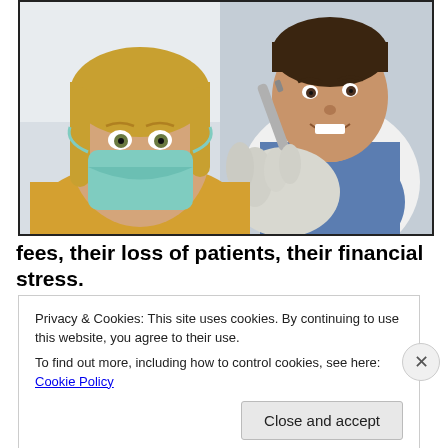[Figure (photo): A dentist and dental assistant viewed from below (patient's perspective). The dentist is smiling and holding dental tools, wearing a blue striped shirt and white coat. The assistant wears a teal surgical mask and gloves. Bright clinical setting.]
fees, their loss of patients, their financial stress.
Privacy & Cookies: This site uses cookies. By continuing to use this website, you agree to their use.
To find out more, including how to control cookies, see here: Cookie Policy